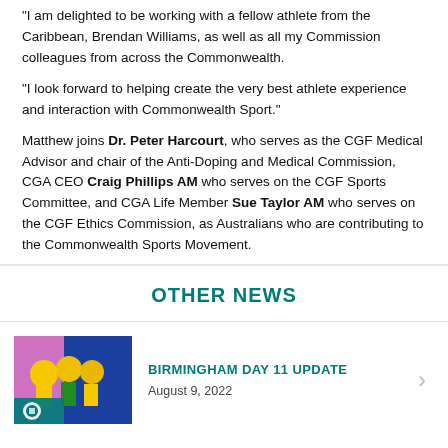“I am delighted to be working with a fellow athlete from the Caribbean, Brendan Williams, as well as all my Commission colleagues from across the Commonwealth.
“I look forward to helping create the very best athlete experience and interaction with Commonwealth Sport.”
Matthew joins Dr. Peter Harcourt, who serves as the CGF Medical Advisor and chair of the Anti-Doping and Medical Commission, CGA CEO Craig Phillips AM who serves on the CGF Sports Committee, and CGA Life Member Sue Taylor AM who serves on the CGF Ethics Commission, as Australians who are contributing to the Commonwealth Sports Movement.
OTHER NEWS
[Figure (photo): Athletes in yellow and green uniforms celebrating, with a teal Commonwealth Sport logo overlay at bottom left]
BIRMINGHAM DAY 11 UPDATE
August 9, 2022